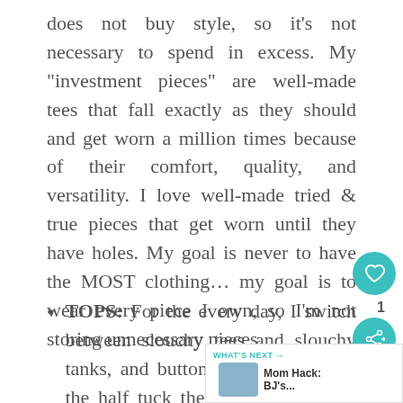does not buy style, so it's not necessary to spend in excess. My "investment pieces" are well-made tees that fall exactly as they should and get worn a million times because of their comfort, quality, and versatility. I love well-made tried & true pieces that get worn until they have holes. My goal is never to have the MOST clothing… my goal is to wear every piece I own, so I'm not storing unnecessary pieces.
TOPS: For the every day, I switch between slouchy tees and slouchy tanks, and button down plaid. I do the half tuck these days to keep it really casual. If I want to dress things up, or if I'm going somewhere fun in the evening, I'll